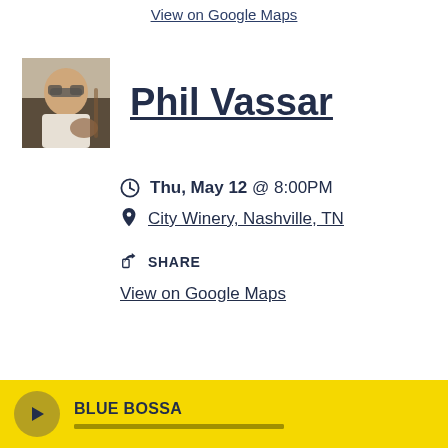View on Google Maps
[Figure (photo): Photo of Phil Vassar, a man in white t-shirt with sunglasses, holding a guitar]
Phil Vassar
Thu, May 12 @ 8:00PM
City Winery, Nashville, TN
SHARE
View on Google Maps
BLUE BOSSA